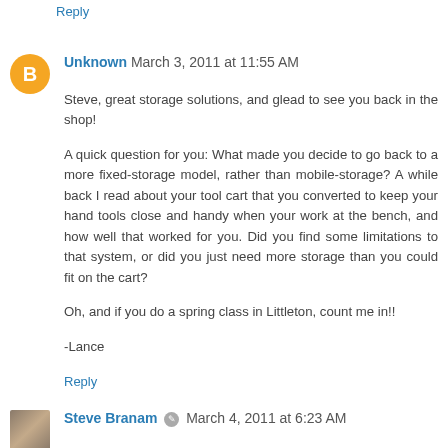Reply
Unknown  March 3, 2011 at 11:55 AM
Steve, great storage solutions, and glead to see you back in the shop!

A quick question for you: What made you decide to go back to a more fixed-storage model, rather than mobile-storage? A while back I read about your tool cart that you converted to keep your hand tools close and handy when your work at the bench, and how well that worked for you. Did you find some limitations to that system, or did you just need more storage than you could fit on the cart?

Oh, and if you do a spring class in Littleton, count me in!!

-Lance
Reply
Steve Branam  March 4, 2011 at 6:23 AM